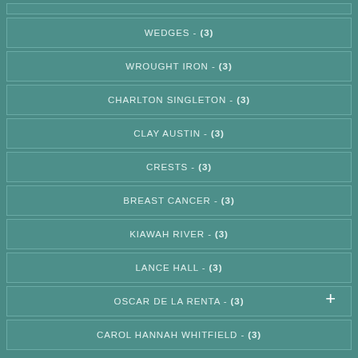WEDGES - (3)
WROUGHT IRON - (3)
CHARLTON SINGLETON - (3)
CLAY AUSTIN - (3)
CRESTS - (3)
BREAST CANCER - (3)
KIAWAH RIVER - (3)
LANCE HALL - (3)
OSCAR DE LA RENTA - (3)
CAROL HANNAH WHITFIELD - (3)